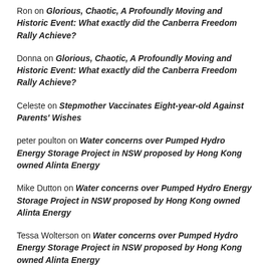Ron on Glorious, Chaotic, A Profoundly Moving and Historic Event: What exactly did the Canberra Freedom Rally Achieve?
Donna on Glorious, Chaotic, A Profoundly Moving and Historic Event: What exactly did the Canberra Freedom Rally Achieve?
Celeste on Stepmother Vaccinates Eight-year-old Against Parents' Wishes
peter poulton on Water concerns over Pumped Hydro Energy Storage Project in NSW proposed by Hong Kong owned Alinta Energy
Mike Dutton on Water concerns over Pumped Hydro Energy Storage Project in NSW proposed by Hong Kong owned Alinta Energy
Tessa Wolterson on Water concerns over Pumped Hydro Energy Storage Project in NSW proposed by Hong Kong owned Alinta Energy
Wayne Glew on The Sad and Brutal Final Hours of Camp Freedom and the Convoy to Canberra
Moya Bosanquet on The Sad and Brutal Final Hours of Camp...